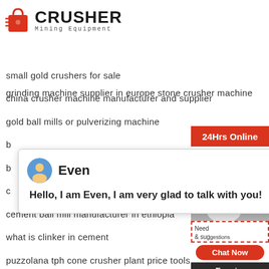[Figure (logo): Crusher Mining Equipment logo with red shopping bag icon and bold text]
grinding machine supplier in europe stone crusher machine
small gold crushers for sale
china crusher machine manufacturer and supplier
gold ball mills or pulverizing machine
b...
b...
c...
cement ball mill manufacturer in ethiopia
what is clinker in cement
puzzolana tph cone crusher plant price tools
historical development of iron ore beneficiation
mining mine construction suppliers in south africa
best selling pex 150x750 jaw crusher
[Figure (screenshot): Chat popup with avatar of Even saying: Hello, I am Even, I am very glad to talk with you!]
[Figure (infographic): Right sidebar with 24Hrs Online banner, Need & suggestions chat widget, Chat Now button, Enquiry button, and email limingjlmofen@sina.com]